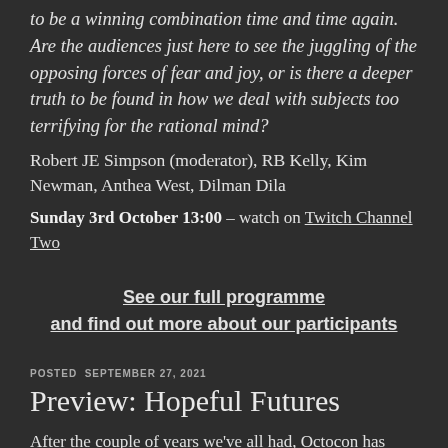to be a winning combination time and time again. Are the audiences just here to see the juggling of the opposing forces of fear and joy, or is there a deeper truth to be found in how we deal with subjects too terrifying for the rational mind?
Robert JE Simpson (moderator), RB Kelly, Kim Newman, Anthea West, Dilman Dila
Sunday 3rd October 13:00 – watch on Twitch Channel Two
See our full programme and find out more about our participants
POSTED SEPTEMBER 27, 2021
Preview: Hopeful Futures
After the couple of years we've all had, Octocon has